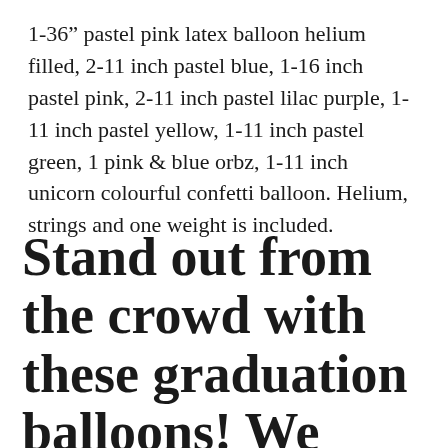1-36" pastel pink latex balloon helium filled, 2-11 inch pastel blue, 1-16 inch pastel pink, 2-11 inch pastel lilac purple, 1-11 inch pastel yellow, 1-11 inch pastel green, 1 pink & blue orbz, 1-11 inch unicorn colourful confetti balloon. Helium, strings and one weight is included.
Stand out from the crowd with these graduation balloons! We have